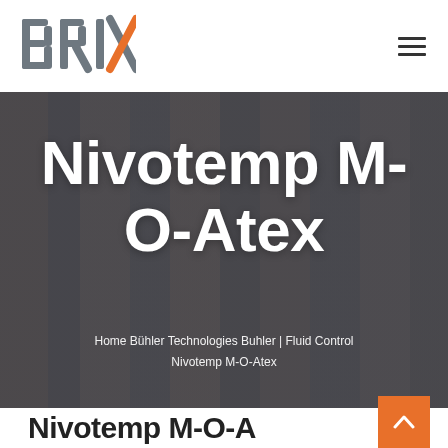[Figure (logo): BRIX company logo with stylized letters B, R, I and an X where the right diagonal is orange, on white background]
[Figure (photo): Industrial facility background with large cylindrical towers/chimneys, overlaid with dark semi-transparent tint. Large white bold text reads 'Nivotemp M-O-Atex' centered. Breadcrumb navigation below: Home • Bühler Technologies • Buhler | Fluid Control • Nivotemp M-O-Atex]
Nivotemp M-O-Atex
Home • Bühler Technologies • Buhler | Fluid Control • Nivotemp M-O-Atex
Nivotemp M-O-A